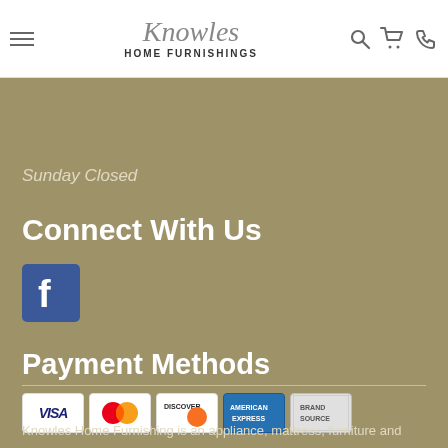Knowles Home Furnishings
Sunday Closed
Connect With Us
[Figure (logo): Facebook logo icon - blue square with white 'f' letter]
Payment Methods
[Figure (infographic): Payment method logos: Visa, MasterCard, Discover, American Express, Brand Source]
Knowles Home Furnishing is an appliance, mattress, furniture and